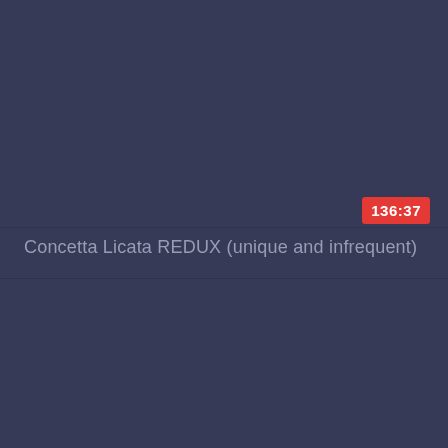136:37
Concetta Licata REDUX (unique and infrequent)